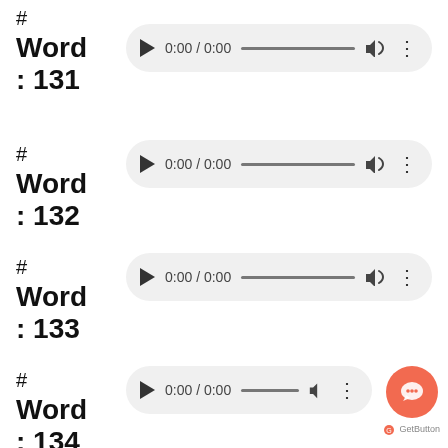# Word : 131
[Figure (screenshot): Audio player for Word 131 showing play button, 0:00 / 0:00 timer, progress bar, volume icon, and more options dots]
# Word : 132
[Figure (screenshot): Audio player for Word 132 showing play button, 0:00 / 0:00 timer, progress bar, volume icon, and more options dots]
# Word : 133
[Figure (screenshot): Audio player for Word 133 showing play button, 0:00 / 0:00 timer, progress bar, volume icon, and more options dots]
# Word : 134
[Figure (screenshot): Audio player for Word 134 showing play button, 0:00 / 0:00 timer, progress bar, volume icon, and more options dots]
[Figure (other): GetButton chat widget - orange circular button with speech bubble icon, labeled GetButton]